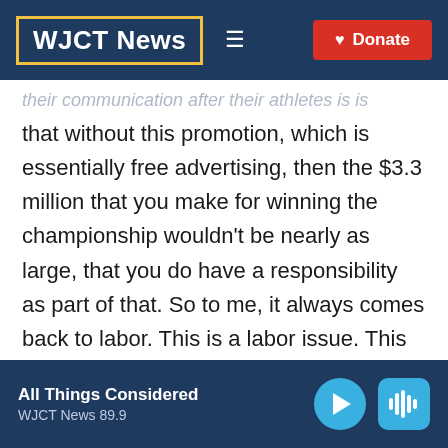WJCT News — navigation header with Donate button
their communication after their athletes is is that without this promotion, which is essentially free advertising, then the $3.3 million that you make for winning the championship wouldn't be nearly as large, that you do have a responsibility as part of that. So to me, it always comes back to labor. This is a labor issue. This is a workplace condition issue. And then when Osaka - when she withdrew, now they've sort of
All Things Considered — WJCT News 89.9